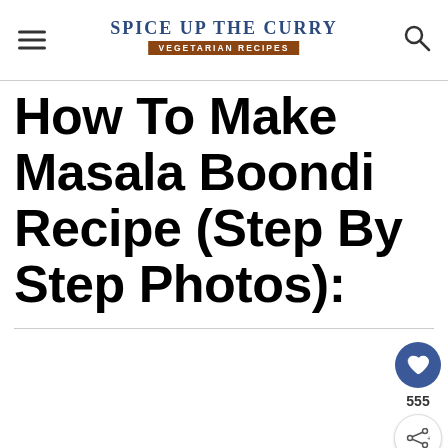Spice Up The Curry – Vegetarian Recipes
How To Make Masala Boondi Recipe (Step By Step Photos):
[Figure (other): Empty white content area below title, with floating heart button showing count 555 and share button on the right side]